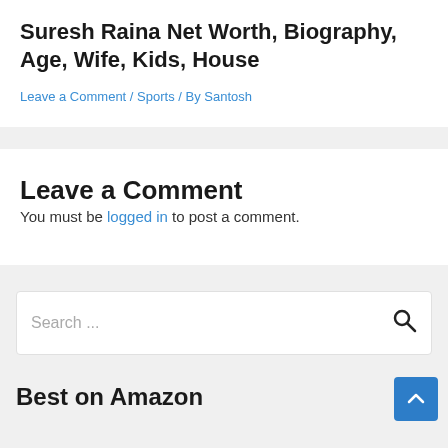Suresh Raina Net Worth, Biography, Age, Wife, Kids, House
Leave a Comment / Sports / By Santosh
Leave a Comment
You must be logged in to post a comment.
Search ...
Best on Amazon